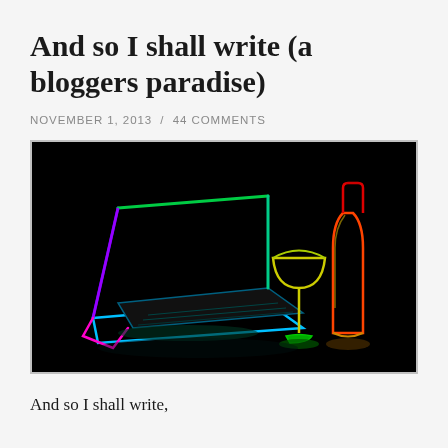And so I shall write (a bloggers paradise)
NOVEMBER 1, 2013 / 44 COMMENTS
[Figure (illustration): Neon outline drawing on black background showing a laptop computer (outlined in blue-green-pink gradient), a wine glass (yellow-green outline), and a wine bottle (red-orange-yellow outline)]
And so I shall write,